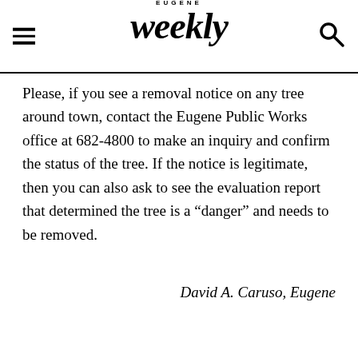Eugene Weekly
Please, if you see a removal notice on any tree around town, contact the Eugene Public Works office at 682-4800 to make an inquiry and confirm the status of the tree. If the notice is legitimate, then you can also ask to see the evaluation report that determined the tree is a “danger” and needs to be removed.
David A. Caruso, Eugene